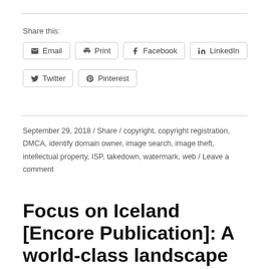Share this:
Email  Print  Facebook  LinkedIn  Twitter  Pinterest
September 29, 2018 / Share / copyright, copyright registration, DMCA, identify domain owner, image search, image theft, intellectual property, ISP, takedown, watermark, web / Leave a comment
Focus on Iceland [Encore Publication]: A world-class landscape